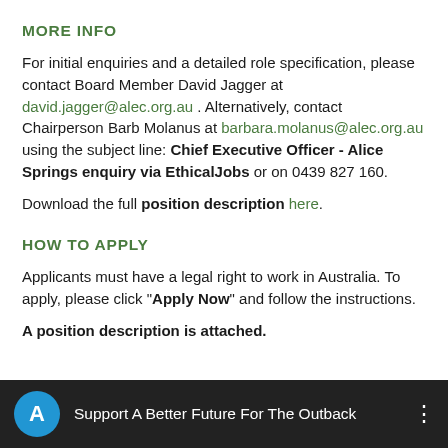MORE INFO
For initial enquiries and a detailed role specification, please contact Board Member David Jagger at david.jagger@alec.org.au . Alternatively, contact Chairperson Barb Molanus at barbara.molanus@alec.org.au using the subject line: Chief Executive Officer - Alice Springs enquiry via EthicalJobs or on 0439 827 160.
Download the full position description here.
HOW TO APPLY
Applicants must have a legal right to work in Australia. To apply, please click "Apply Now" and follow the instructions.
A position description is attached.
Support A Better Future For The Outback